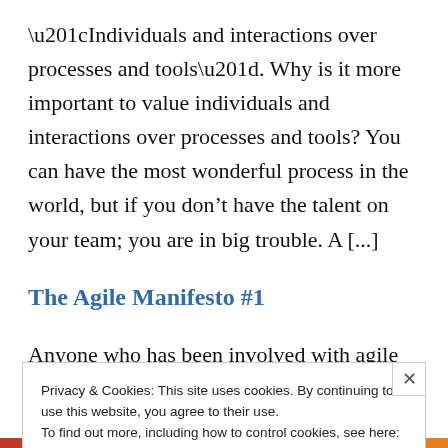“Individuals and interactions over processes and tools”. Why is it more important to value individuals and interactions over processes and tools? You can have the most wonderful process in the world, but if you don’t have the talent on your team; you are in big trouble. A [...]
The Agile Manifesto #1
Anyone who has been involved with agile
Privacy & Cookies: This site uses cookies. By continuing to use this website, you agree to their use.
To find out more, including how to control cookies, see here:
Cookie Policy
Close and accept